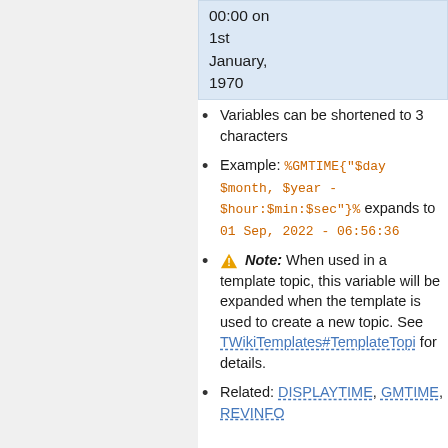| 00:00 on 1st January, 1970 |
Variables can be shortened to 3 characters
Example: %GMTIME{"$day $month, $year - $hour:$min:$sec"}% expands to 01 Sep, 2022 - 06:56:36
Note: When used in a template topic, this variable will be expanded when the template is used to create a new topic. See TWikiTemplates#TemplateTopi for details.
Related: DISPLAYTIME, GMTIME, REVINFO